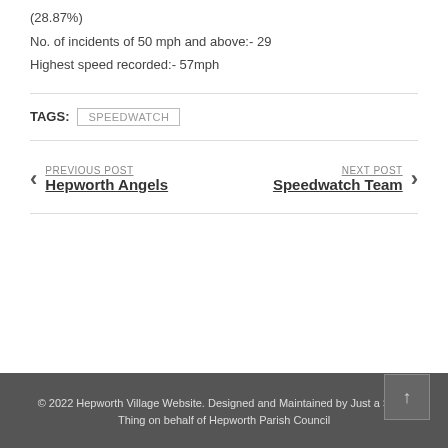(28.87%)
No. of incidents of 50 mph and above:- 29
Highest speed recorded:- 57mph
TAGS: SPEEDWATCH
PREVIOUS POST
Hepworth Angels
NEXT POST
Speedwatch Team
© 2022 Hepworth Village Website. Designed and Maintained by Just a Small Thing on behalf of Hepworth Parish Council